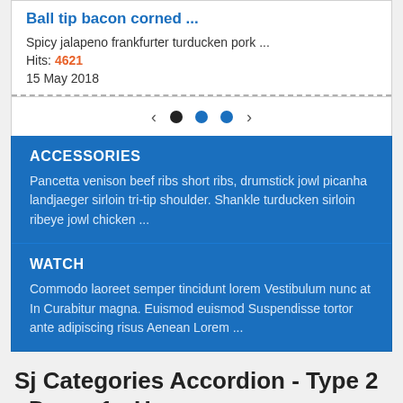Ball tip bacon corned ...
Spicy jalapeno frankfurter turducken pork ...
Hits: 4621
15 May 2018
[Figure (other): Pagination control with left arrow, three dots (one black, two blue), and right arrow]
ACCESSORIES
Pancetta venison beef ribs short ribs, drumstick jowl picanha landjaeger sirloin tri-tip shoulder. Shankle turducken sirloin ribeye jowl chicken ...
WATCH
Commodo laoreet semper tincidunt lorem Vestibulum nunc at In Curabitur magna. Euismod euismod Suspendisse tortor ante adipiscing risus Aenean Lorem ...
Sj Categories Accordion - Type 2 - Demo 1 - Hover